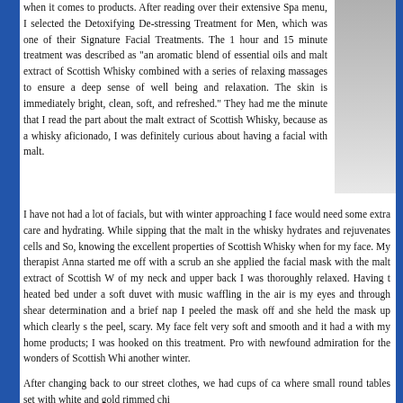when it comes to products. After reading over their extensive Spa menu, I selected the Detoxifying De-stressing Treatment for Men, which was one of their Signature Facial Treatments. The 1 hour and 15 minute treatment was described as "an aromatic blend of essential oils and malt extract of Scottish Whisky combined with a series of relaxing massages to ensure a deep sense of well being and relaxation. The skin is immediately bright, clean, soft, and refreshed." They had me the minute that I read the part about the malt extract of Scottish Whisky, because as a whisky aficionado, I was definitely curious about having a facial with malt.
I have not had a lot of facials, but with winter approaching I face would need some extra care and hydrating. While sipping that the malt in the whisky hydrates and rejuvenates cells and So, knowing the excellent properties of Scottish Whisky when for my face. My therapist Anna started me off with a scrub an she applied the facial mask with the malt extract of Scottish W of my neck and upper back I was thoroughly relaxed. Having t heated bed under a soft duvet with music waffling in the air is my eyes and through shear determination and a brief nap I peeled the mask off and she held the mask up which clearly s the peel, scary. My face felt very soft and smooth and it had a with my home products; I was hooked on this treatment. Pro with newfound admiration for the wonders of Scottish Whi another winter.
After changing back to our street clothes, we had cups of ca where small round tables set with white and gold rimmed chi